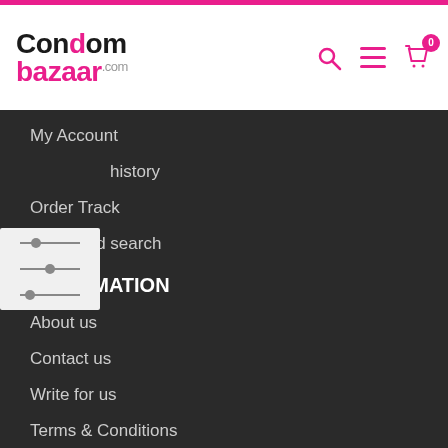CondombazaarCOM - navigation header with search, menu, and cart icons
My Account
history
Order Track
Advanced search
INFORMATION
About us
Contact us
Write for us
Terms & Conditions
Cancellation and Returns
Shipping Policy
Privacy Policy
Blog
FAQs